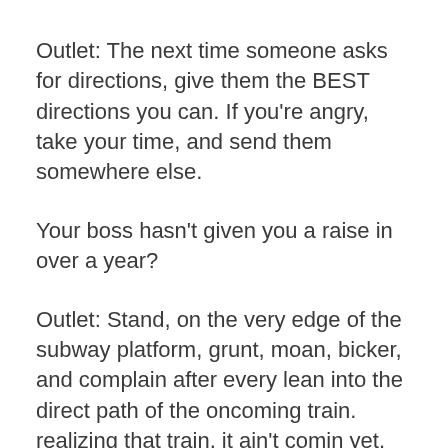Outlet: The next time someone asks for directions, give them the BEST directions you can. If you're angry, take your time, and send them somewhere else.
Your boss hasn't given you a raise in over a year?
Outlet: Stand, on the very edge of the subway platform, grunt, moan, bicker, and complain after every lean into the direct path of the oncoming train. realizing that train, it ain't comin yet.
Cuz these things? You think you can control them. But even the little things are